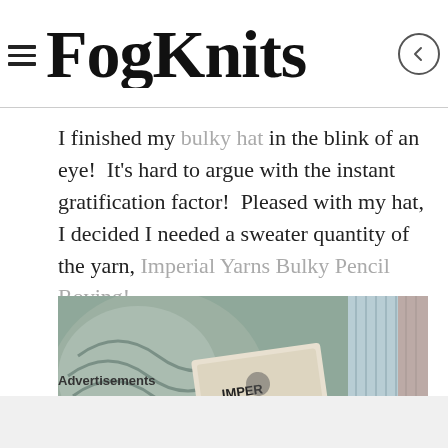FogKnits
I finished my bulky hat in the blink of an eye! It's hard to argue with the instant gratification factor! Pleased with my hat, I decided I needed a sweater quantity of the yarn, Imperial Yarns Bulky Pencil Roving!
[Figure (photo): A photo of a grey/blue knitted hat with an Imperial Yarns label tag visible on it.]
Advertisements